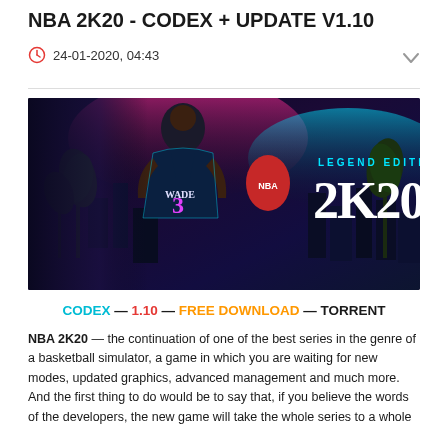NBA 2K20 - CODEX + UPDATE V1.10
24-01-2020, 04:43
[Figure (photo): NBA 2K20 Legend Edition cover art showing Dwyane Wade (#3) in a Miami Heat jersey with neon/cyberpunk Miami skyline background. Text reads 'LEGEND EDITION 2K20' in teal/white letters.]
CODEX — 1.10 — FREE DOWNLOAD — TORRENT
NBA 2K20 — the continuation of one of the best series in the genre of a basketball simulator, a game in which you are waiting for new modes, updated graphics, advanced management and much more. And the first thing to do would be to say that, if you believe the words of the developers, the new game will take the whole series to a whole